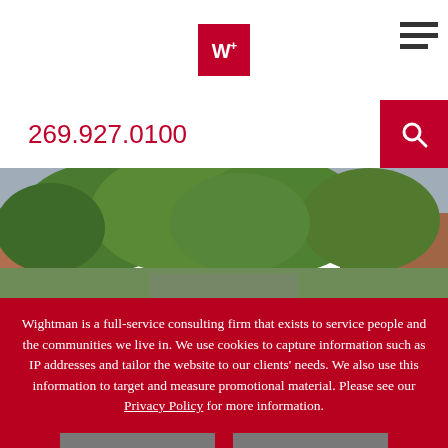W+ [logo] | hamburger menu
269.927.0100
[Figure (photo): Outdoor photo of trees and buildings, street-level view with green foliage and brick structures in background, overcast sky]
Wightman is a full-service consulting firm that exists to service people and the communities we live in. We use cookies to capture information such as IP addresses and tailor the website to our clients' needs. We also use this information to target and measure promotional material. Please see our Privacy Policy for more information.
ACCEPT
DECLINE